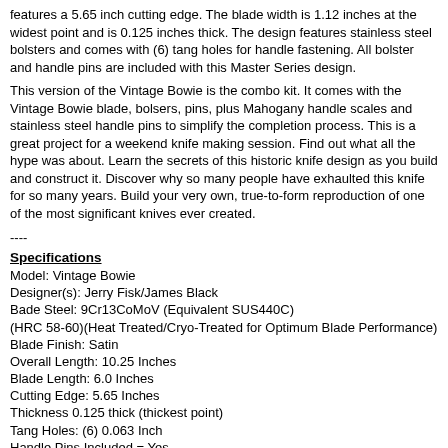features a 5.65 inch cutting edge. The blade width is 1.12 inches at the widest point and is 0.125 inches thick. The design features stainless steel bolsters and comes with (6) tang holes for handle fastening. All bolster and handle pins are included with this Master Series design.
This version of the Vintage Bowie is the combo kit. It comes with the Vintage Bowie blade, bolsers, pins, plus Mahogany handle scales and stainless steel handle pins to simplify the completion process. This is a great project for a weekend knife making session. Find out what all the hype was about. Learn the secrets of this historic knife design as you build and construct it. Discover why so many people have exhaulted this knife for so many years. Build your very own, true-to-form reproduction of one of the most significant knives ever created.
----
Specifications
Model: Vintage Bowie
Designer(s): Jerry Fisk/James Black
Bade Steel: 9Cr13CoMoV (Equivalent SUS440C)
(HRC 58-60)(Heat Treated/Cryo-Treated for Optimum Blade Performance)
Blade Finish: Satin
Overall Length: 10.25 Inches
Blade Length: 6.0 Inches
Cutting Edge: 5.65 Inches
Thickness 0.125 thick (thickest point)
Tang Holes: (6) 0.063 Inch
Handle Pins Included = Yes
Weight: 4.3 oz / 122 gm
Bolsters/Pins Included = Yes
Handle Material Included = Mahogany (2)(5.0 x 1.5 x .25) Inches
Gift Boxed = Yes